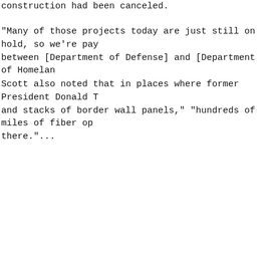construction had been canceled.
"Many of those projects today are just still on hold, so we're paying between [Department of Defense] and [Department of Homeland...
Scott also noted that in places where former President Donald T and stacks of border wall panels," "hundreds of miles of fiber op there."...